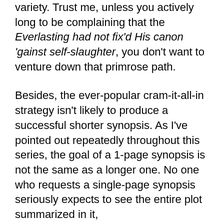variety. Trust me, unless you actively long to be complaining that the Everlasting had not fix'd His canon 'gainst self-slaughter, you don't want to venture down that primrose path.
Besides, the ever-popular cram-it-all-in strategy isn't likely to produce a successful shorter synopsis. As I've pointed out repeatedly throughout this series, the goal of a 1-page synopsis is not the same as a longer one. No one who requests a single-page synopsis seriously expects to see the entire plot summarized in it,